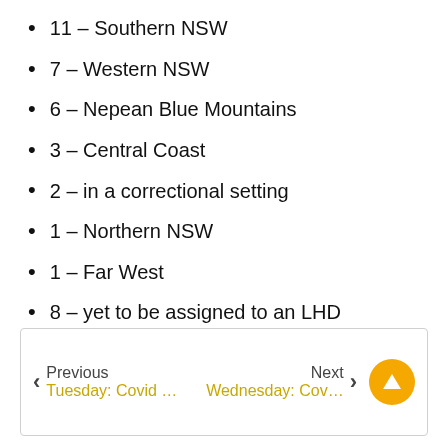11 – Southern NSW
7 – Western NSW
6 – Nepean Blue Mountains
3 – Central Coast
2 – in a correctional setting
1 – Northern NSW
1 – Far West
8 – yet to be assigned to an LHD
Previous: Tuesday: Covid … | Next: Wednesday: Cov…